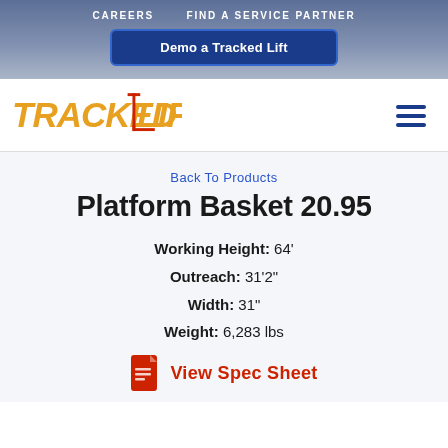CAREERS   FIND A SERVICE PARTNER
Demo a Tracked Lift
[Figure (logo): Tracked Lifts logo with orange/red text and red lift icon]
Back To Products
Platform Basket 20.95
Working Height: 64'
Outreach: 31'2"
Width: 31"
Weight: 6,283 lbs
View Spec Sheet